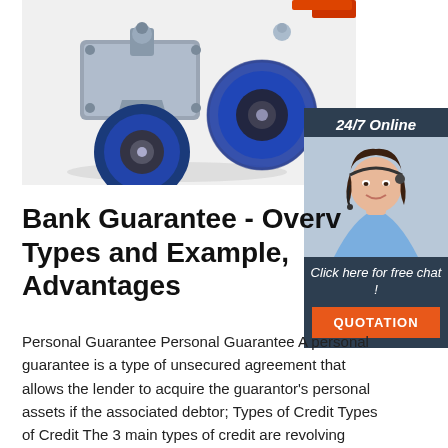[Figure (photo): Product photo of blue swivel caster wheel with metal plate mount on white background]
[Figure (infographic): 24/7 Online chat widget with dark navy background, photo of smiling woman with headset, 'Click here for free chat!' text, and orange QUOTATION button]
Bank Guarantee - Overview, Types and Example, Advantages
Personal Guarantee Personal Guarantee A personal guarantee is a type of unsecured agreement that allows the lender to acquire the guarantor's personal assets if the associated debtor; Types of Credit Types of Credit The 3 main types of credit are revolving credit, installment, and open credit. Credit enables people to purchase goods or ...